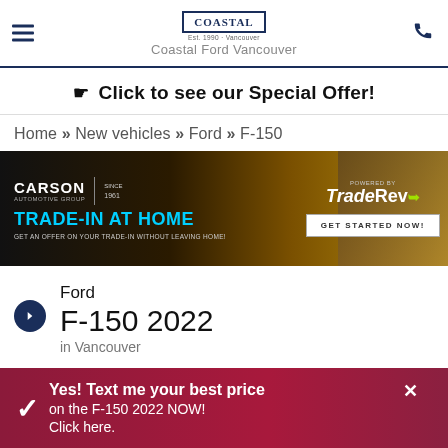Coastal Ford Vancouver
☛ Click to see our Special Offer!
Home » New vehicles » Ford » F-150
[Figure (illustration): Carson Automotive Group Trade-In At Home advertisement banner powered by TradeRev. Dark background with gold gradient. Get Started Now button visible. Hand holding phone on right side.]
Ford F-150 2022 in Vancouver
Yes! Text me your best price on the F-150 2022 NOW! Click here.